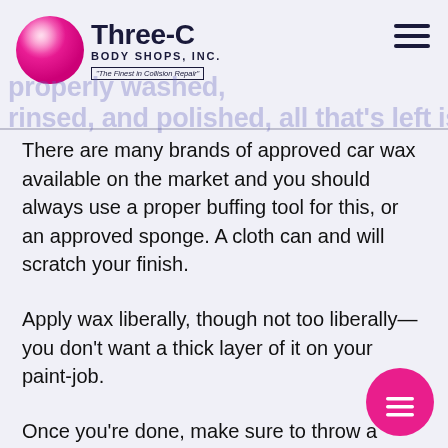Three-C Body Shops, Inc. — The Finest in Collision Repair
There are many brands of approved car wax available on the market and you should always use a proper buffing tool for this, or an approved sponge. A cloth can and will scratch your finish.
Apply wax liberally, though not too liberally—you don't want a thick layer of it on your paint-job.
Once you're done, make sure to throw a shadow net over your car to protect it from